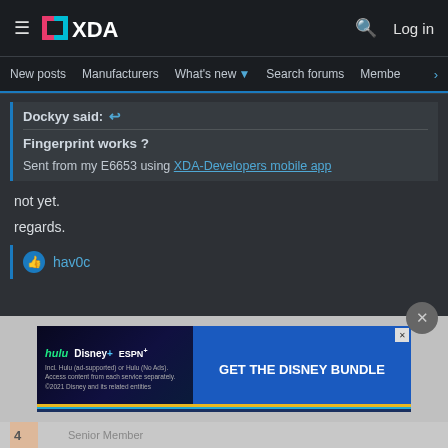XDA Developers — Log in
New posts  Manufacturers  What's new  Search forums  Members  >
Dockyy said:
Fingerprint works ?
Sent from my E6653 using XDA-Developers mobile app
not yet.
regards.
hav0c
[Figure (screenshot): Disney Bundle advertisement banner with Hulu, Disney+, ESPN+ logos and GET THE DISNEY BUNDLE CTA button]
Senior Member